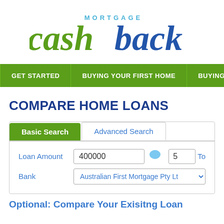[Figure (logo): Mortgage Cashback logo: 'cash' in green and 'back' in blue with 'MORTGAGE' in small blue caps above]
[Figure (screenshot): Navigation bar with green background showing: GET STARTED | BUYING YOUR FIRST HOME | BUYING NEXT (partially visible)]
COMPARE HOME LOANS
[Figure (screenshot): Search form with tabs: Basic Search (active, green), Advanced Search. Fields: Loan Amount input with value 400000, small blue speech bubble icon, a small input with value 5 and 'To' label. Bank dropdown showing 'Australian First Mortgage Pty Lt'. Optional section title visible at bottom.]
Optional: Compare Your Exisitng Loan